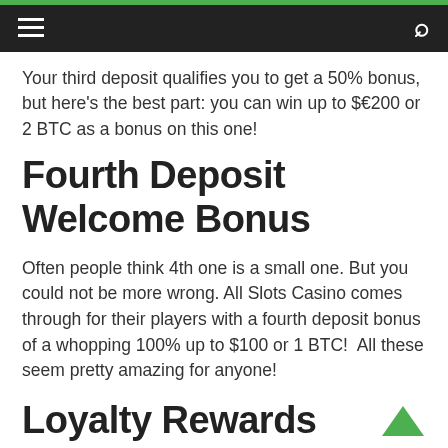Your third deposit qualifies you to get a 50% bonus, but here's the best part: you can win up to $€200 or 2 BTC as a bonus on this one!
Fourth Deposit Welcome Bonus
Often people think 4th one is a small one. But you could not be more wrong. All Slots Casino comes through for their players with a fourth deposit bonus of a whopping 100% up to $100 or 1 BTC!  All these seem pretty amazing for anyone!
Loyalty Rewards